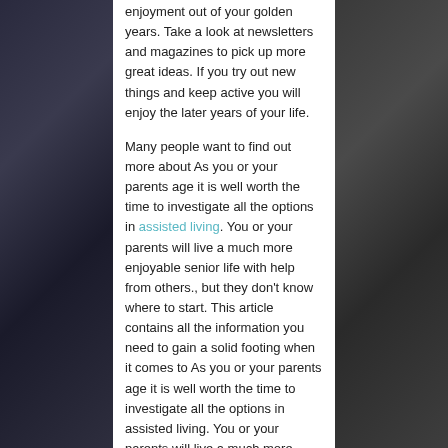enjoyment out of your golden years. Take a look at newsletters and magazines to pick up more great ideas. If you try out new things and keep active you will enjoy the later years of your life.
Many people want to find out more about As you or your parents age it is well worth the time to investigate all the options in assisted living. You or your parents will live a much more enjoyable senior life with help from others., but they don't know where to start. This article contains all the information you need to gain a solid footing when it comes to As you or your parents age it is well worth the time to investigate all the options in assisted living. You or your parents will live a much more enjoyable senior life with help from others.. Now implement the advice you've just read.
Tagged on:    getting older
By  |  December 7, 2014  |  Uncategorized  |
Experiencing The Getting Older Process: H...